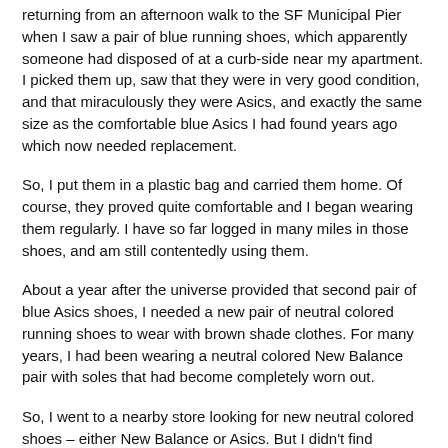returning from an afternoon walk to the SF Municipal Pier when I saw a pair of blue running shoes, which apparently someone had disposed of at a curb-side near my apartment. I picked them up, saw that they were in very good condition, and that miraculously they were Asics, and exactly the same size as the comfortable blue Asics I had found years ago which now needed replacement.
So, I put them in a plastic bag and carried them home. Of course, they proved quite comfortable and I began wearing them regularly. I have so far logged in many miles in those shoes, and am still contentedly using them.
About a year after the universe provided that second pair of blue Asics shoes, I needed a new pair of neutral colored running shoes to wear with brown shade clothes. For many years, I had been wearing a neutral colored New Balance pair with soles that had become completely worn out.
So, I went to a nearby store looking for new neutral colored shoes – either New Balance or Asics. But I didn't find anything that I liked. I left the store planning to look elsewhere. But soon that became unnecessary.
For the third time the universe presented me with exactly the shoes I was looking for.
Within two weeks, on a ledge near my apartment building, I found an almost brand new pair of neutral colored running shoes. Again they were perfectly